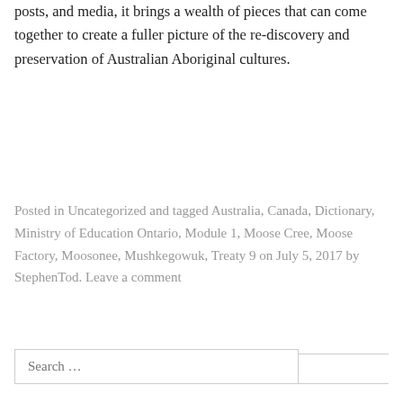posts, and media, it brings a wealth of pieces that can come together to create a fuller picture of the re-discovery and preservation of Australian Aboriginal cultures.
Posted in Uncategorized and tagged Australia, Canada, Dictionary, Ministry of Education Ontario, Module 1, Moose Cree, Moose Factory, Moosonee, Mushkegowuk, Treaty 9 on July 5, 2017 by StephenTod. Leave a comment